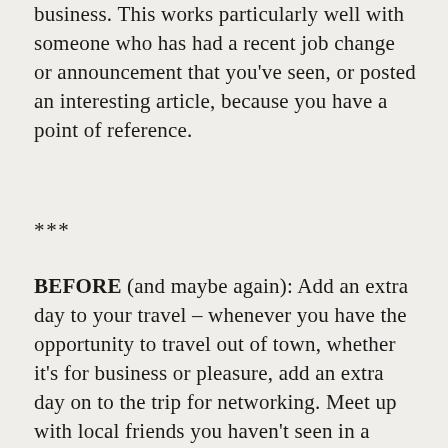business. This works particularly well with someone who has had a recent job change or announcement that you've seen, or posted an interesting article, because you have a point of reference.
***
BEFORE (and maybe again): Add an extra day to your travel – whenever you have the opportunity to travel out of town, whether it's for business or pleasure, add an extra day on to the trip for networking. Meet up with local friends you haven't seen in a while, reach out to those LinkedIn or Twitter connections you know in that city, or even send out a general social media request for whoever may like to connect while you're in town. Reach out to some local lawyers to set up meetings while you're visiting – you'll